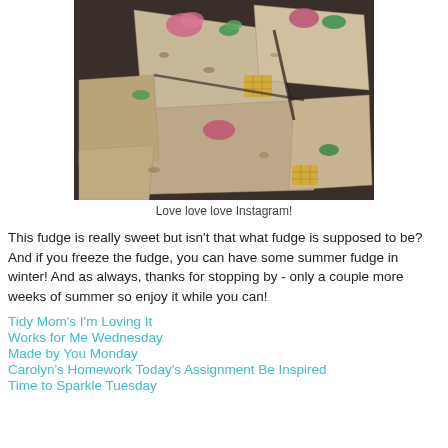[Figure (photo): Overhead photo of chocolate bark pieces with colorful toppings including pink/purple and green pieces, gold crackers, on a dark surface.]
Love love love Instagram!
This fudge is really sweet but isn't that what fudge is supposed to be? And if you freeze the fudge, you can have some summer fudge in winter! And as always, thanks for stopping by - only a couple more weeks of summer so enjoy it while you can!
Tidy Mom's I'm Loving It
Works for Me Wednesday
Made by You Monday
Carolyn's Homework Today's Assignment Be Inspired
Time to Sparkle Tuesday